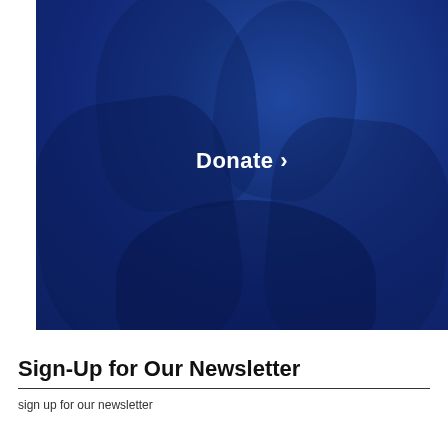[Figure (photo): A photo of smiling children/people with a deep blue overlay, featuring a 'Donate >' text link centered on the image.]
Sign-Up for Our Newsletter
sign up for our newsletter